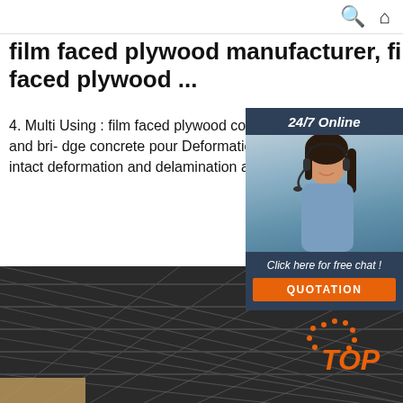🔍 🏠
film faced plywood manufacturer, film faced plywood ...
4. Multi Using : film faced plywood could be used slab, column, beam and bri- dge concrete pouring. Deformation : film faced plywood is still intact deformation and delamination after 72 hours of boiling water.
[Figure (photo): Customer support agent photo with 24/7 Online label and Quotation button sidebar widget]
Get Price
[Figure (photo): Interior photo of a large industrial warehouse with steel roof structure and TOP logo watermark]